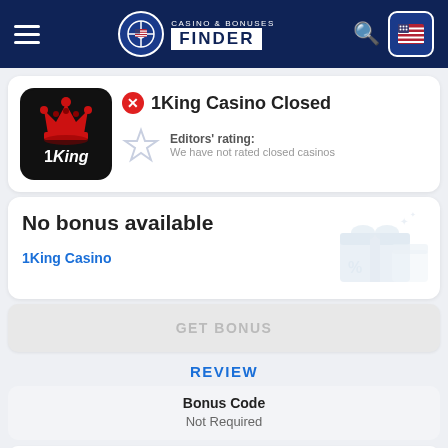Casino & Bonuses Finder
1King Casino Closed
Editors' rating: We have not rated closed casinos
No bonus available
1King Casino
GET BONUS
REVIEW
Bonus Code
Not Required
18+, new players only